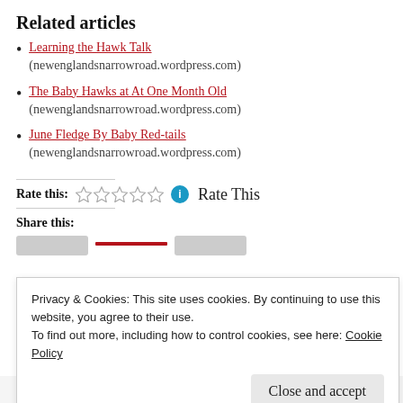Related articles
Learning the Hawk Talk (newenglandsnarrowroad.wordpress.com)
The Baby Hawks at At One Month Old (newenglandsnarrowroad.wordpress.com)
June Fledge By Baby Red-tails (newenglandsnarrowroad.wordpress.com)
Rate this: ☆☆☆☆☆ ⓘ Rate This
Share this:
Privacy & Cookies: This site uses cookies. By continuing to use this website, you agree to their use. To find out more, including how to control cookies, see here: Cookie Policy
Close and accept
Wildlife